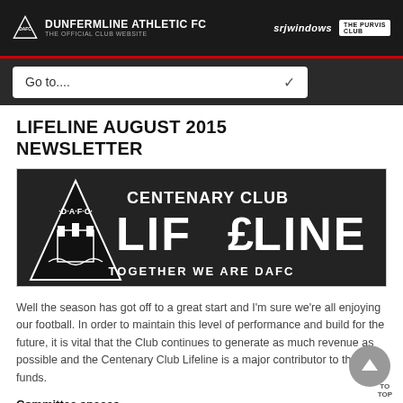DUNFERMLINE ATHLETIC FC | srjwindows | THE PURVIS CLUB
[Figure (screenshot): Go to... navigation dropdown in dark bar]
LIFELINE AUGUST 2015 NEWSLETTER
[Figure (logo): DAFC Centenary Club LIFELINE banner — TOGETHER WE ARE DAFC]
Well the season has got off to a great start and I'm sure we're all enjoying our football. In order to maintain this level of performance and build for the future, it is vital that the Club continues to generate as much revenue as possible and the Centenary Club Lifeline is a major contributor to these funds.
Committee spaces
We are bidding a fond farewell from the committee to both Dougie and Ken Penman, our siblings who have served the committee for a couple of decades between them. We will be making a formal presentation and thank you to them shortly. However, this has created two